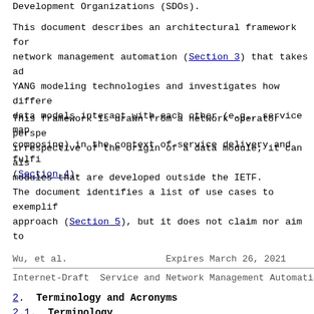Development Organizations (SDOs).
This document describes an architectural framework for network management automation (Section 3) that takes ad YANG modeling technologies and investigates how differe data models interact with each other (e.g., service map composing) in the context of service delivery and fulfi (Section 4).
This framework is drawn from a network operator perspe irrespective of the origin of a data module; it can als modules that are developed outside the IETF.
The document identifies a list of use cases to exemplif approach (Section 5), but it does not claim nor aim to
Wu, et al.                  Expires March 26, 2021
Internet-Draft   Service and Network Management Automation
2.  Terminology and Acronyms
2.1.  Terminology
The following terms are defined in [RFC8309][RFC8199] a